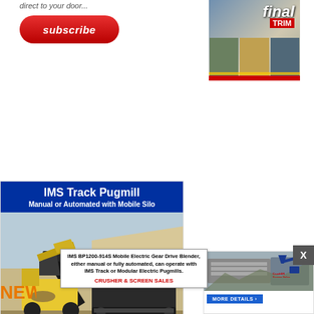[Figure (illustration): Subscribe button (red rounded rectangle) with italic text 'subscribe', and a construction equipment magazine cover to the right showing 'final TRIM' with multiple photos of excavators and machinery]
[Figure (photo): IMS Track Pugmill advertisement with blue header reading 'IMS Track Pugmill / Manual or Automated with Mobile Silo', a large photo of a pugmill machine and loader at a quarry site, a company logo 'Crusher Screen Sales & Hire', and 'For Sale or Hire' text with a blue 'MORE DETAILS' button]
[Figure (illustration): Popup tooltip box with text about 'IMS BP1200-914S Mobile Electric Gear Drive Blender' and 'CRUSHER & SCREEN SALES' branding]
[Figure (photo): Smaller right-side advertisement showing quarry/screening equipment with Crusher Screen Sales & Hire logo and blue 'MORE DETAILS' button]
NEWSL
[Figure (other): X close/dismiss button (dark grey square with white X)]